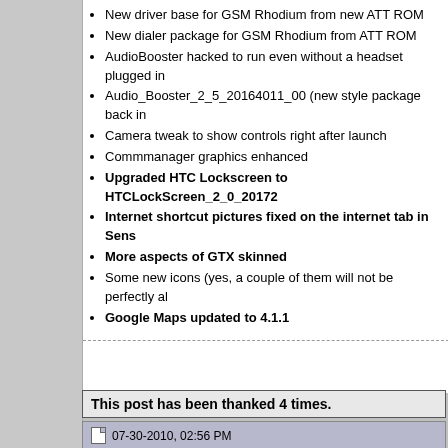New driver base for GSM Rhodium from new ATT ROM
New dialer package for GSM Rhodium from ATT ROM
AudioBooster hacked to run even without a headset plugged in
Audio_Booster_2_5_20164011_00 (new style package back in
Camera tweak to show controls right after launch
Commmanager graphics enhanced
Upgraded HTC Lockscreen to HTCLockScreen_2_0_20172
Internet shortcut pictures fixed on the internet tab in Sens
More aspects of GTX skinned
Some new icons (yes, a couple of them will not be perfectly al
Google Maps updated to 4.1.1
This post has been thanked 4 times.
07-30-2010, 02:56 PM
m4f1050
Halfway to VIP Status
Offline
Pocket PC: Ozone,Diam,Imagio,TPro2,Opt-S,EVO,3VO,E4GT
Carrier: Boost (CDMA)
Re: |RHODCMDA|.Â,Â,.Â·Â´Â¯Â·.Â,Â,.- Energy -.Â,Â,.Â·Â´Â¯ * |Jul 24| 21911|
Man I hope it comes out with MaxSense in CDMA... And not just on T